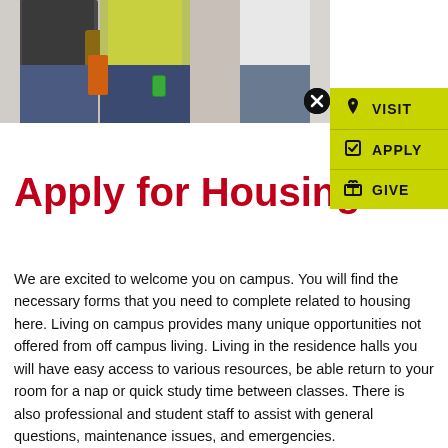[Figure (photo): Photo of students standing together on campus, cropped to show waists/torsos area]
Apply for Housing
We are excited to welcome you on campus. You will find the necessary forms that you need to complete related to housing here. Living on campus provides many unique opportunities not offered from off campus living. Living in the residence halls you will have easy access to various resources, be able return to your room for a nap or quick study time between classes. There is also professional and student staff to assist with general questions, maintenance issues, and emergencies.